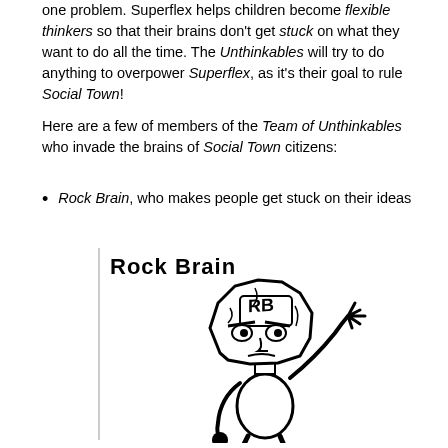one problem. Superflex helps children become flexible thinkers so that their brains don't get stuck on what they want to do all the time. The Unthinkables will try to do anything to overpower Superflex, as it's their goal to rule Social Town!
Here are a few of members of the Team of Unthinkables who invade the brains of Social Town citizens:
Rock Brain, who makes people get stuck on their ideas
[Figure (illustration): Black and white cartoon illustration of Rock Brain character - a rock-shaped head with 'RB' letters, wearing a body, with one hand raised. Title 'Rock Brain' in bold stylized text above.]